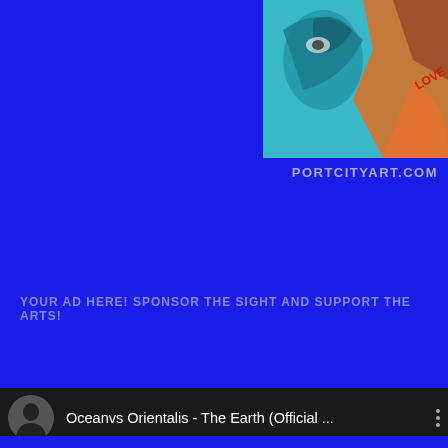[Figure (photo): Colorful street art / illustration visible in top right corner]
PORTCITYART.COM
YOUR AD HERE! SPONSOR THE SIGHT AND SUPPORT THE ARTS!
[Figure (screenshot): YouTube video embed showing 'Oceanvs Orientalis - The Earth (Official ...' with a fire and smoke swirl image as thumbnail and YouTube play button overlay. Channel avatar shown top left.]